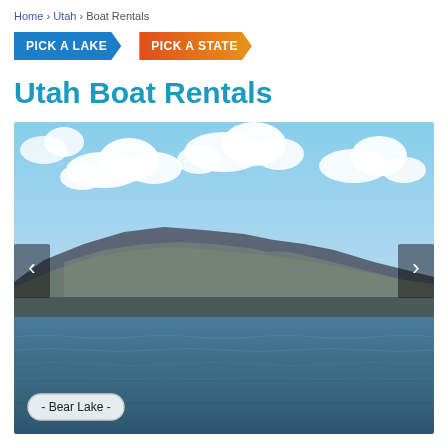Home › Utah › Boat Rentals
[Figure (other): Two navigation buttons: 'PICK A LAKE' in blue arrow shape and 'PICK A STATE' in red-orange arrow shape]
Utah Boat Rentals
[Figure (photo): Photo of Bear Lake, Utah showing blue water with choppy surface in the foreground, a mountain ridge in the middle ground, and a partly cloudy blue sky. Navigation arrows on left and right sides. Caption label '- Bear Lake -' in lower left corner.]